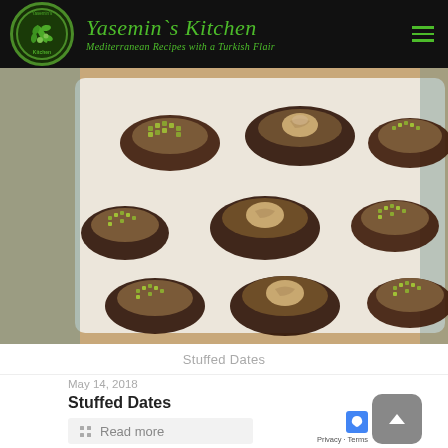Yasemin's Kitchen — Mediterranean Recipes with a Turkish Flair
[Figure (photo): Stuffed dates arranged on a white plate, some topped with chopped green pistachios and others with whole walnuts]
Stuffed Dates
May 14, 2018
Stuffed Dates
Read more